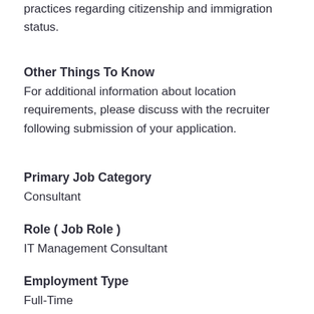practices regarding citizenship and immigration status.
Other Things To Know
For additional information about location requirements, please discuss with the recruiter following submission of your application.
Primary Job Category
Consultant
Role ( Job Role )
IT Management Consultant
Employment Type
Full-Time